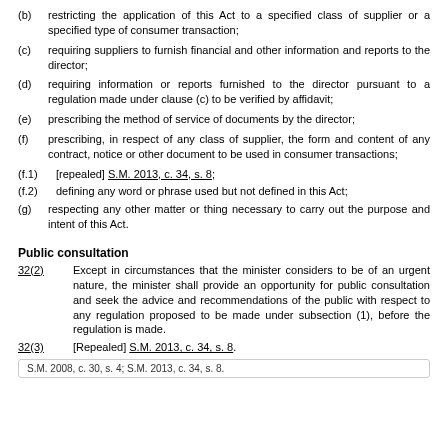(b) restricting the application of this Act to a specified class of supplier or a specified type of consumer transaction;
(c) requiring suppliers to furnish financial and other information and reports to the director;
(d) requiring information or reports furnished to the director pursuant to a regulation made under clause (c) to be verified by affidavit;
(e) prescribing the method of service of documents by the director;
(f) prescribing, in respect of any class of supplier, the form and content of any contract, notice or other document to be used in consumer transactions;
(f.1) [repealed] S.M. 2013, c. 34, s. 8;
(f.2) defining any word or phrase used but not defined in this Act;
(g) respecting any other matter or thing necessary to carry out the purpose and intent of this Act.
Public consultation
32(2) Except in circumstances that the minister considers to be of an urgent nature, the minister shall provide an opportunity for public consultation and seek the advice and recommendations of the public with respect to any regulation proposed to be made under subsection (1), before the regulation is made.
32(3) [Repealed] S.M. 2013, c. 34, s. 8.
S.M. 2008, c. 30, s. 4; S.M. 2013, c. 34, s. 8.